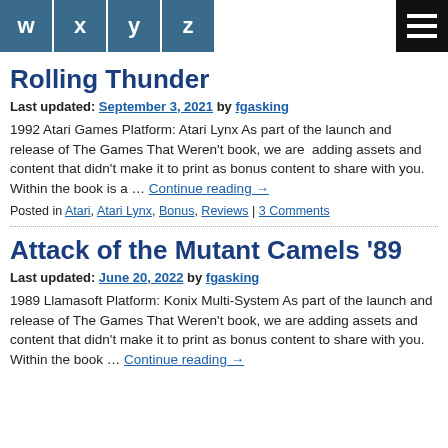W X Y Z [hamburger menu]
Rolling Thunder
Last updated: September 3, 2021 by fgasking
1992 Atari Games Platform: Atari Lynx As part of the launch and release of The Games That Weren't book, we are  adding assets and content that didn't make it to print as bonus content to share with you. Within the book is a … Continue reading →
Posted in Atari, Atari Lynx, Bonus, Reviews | 3 Comments
Attack of the Mutant Camels '89
Last updated: June 20, 2022 by fgasking
1989 Llamasoft Platform: Konix Multi-System As part of the launch and release of The Games That Weren't book, we are adding assets and content that didn't make it to print as bonus content to share with you. Within the book … Continue reading →